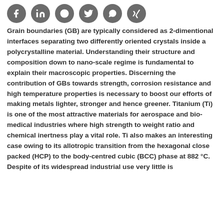[Figure (other): Row of social media share icons: Facebook, LinkedIn, Reddit, Twitter, WhatsApp, Xing]
Grain boundaries (GB) are typically considered as 2-dimentional interfaces separating two differently oriented crystals inside a polycrystalline material. Understanding their structure and composition down to nano-scale regime is fundamental to explain their macroscopic properties. Discerning the contribution of GBs towards strength, corrosion resistance and high temperature properties is necessary to boost our efforts of making metals lighter, stronger and hence greener. Titanium (Ti) is one of the most attractive materials for aerospace and bio-medical industries where high strength to weight ratio and chemical inertness play a vital role. Ti also makes an interesting case owing to its allotropic transition from the hexagonal close packed (HCP) to the body-centred cubic (BCC) phase at 882 °C. Despite of its widespread industrial use very little is